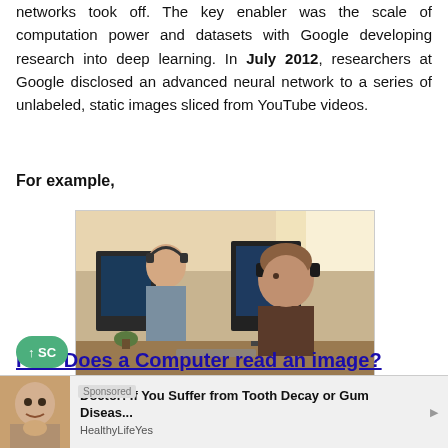networks took off. The key enabler was the scale of computation power and datasets with Google developing research into deep learning. In July 2012, researchers at Google disclosed an advanced neural network to a series of unlabeled, static images sliced from YouTube videos.
For example,
[Figure (photo): Two people wearing headphones working at computer workstations in an office setting. A woman is visible in the background and a man is in the foreground, both facing monitors.]
Consider this image of Nature, upon first glance; we will see a lot of buildings and colors.
How Does a Computer read an image?